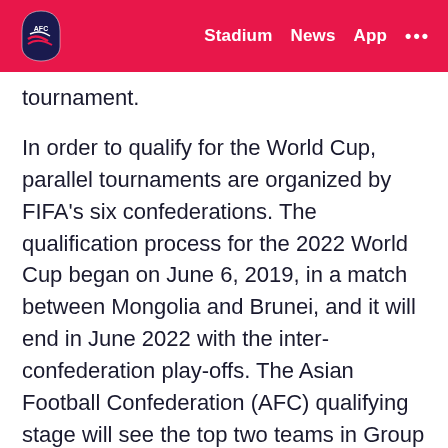Stadium  News  App  ...
tournament.
In order to qualify for the World Cup, parallel tournaments are organized by FIFA's six confederations. The qualification process for the 2022 World Cup began on June 6, 2019, in a match between Mongolia and Brunei, and it will end in June 2022 with the inter-confederation play-offs. The Asian Football Confederation (AFC) qualifying stage will see the top two teams in Group A and Group B – both of which have six teams – automatically qualify for the FIFA World Cup, whilst the third-placed teams in both groups will face each other in the play-offs.